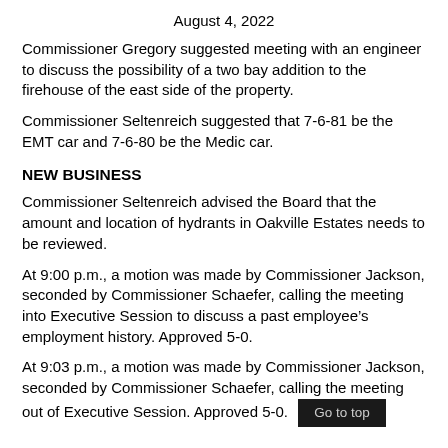August 4, 2022
Commissioner Gregory suggested meeting with an engineer to discuss the possibility of a two bay addition to the firehouse of the east side of the property.
Commissioner Seltenreich suggested that 7-6-81 be the EMT car and 7-6-80 be the Medic car.
NEW BUSINESS
Commissioner Seltenreich advised the Board that the amount and location of hydrants in Oakville Estates needs to be reviewed.
At 9:00 p.m., a motion was made by Commissioner Jackson, seconded by Commissioner Schaefer, calling the meeting into Executive Session to discuss a past employee’s employment history. Approved 5-0.
At 9:03 p.m., a motion was made by Commissioner Jackson, seconded by Commissioner Schaefer, calling the meeting out of Executive Session. Approved 5-0.